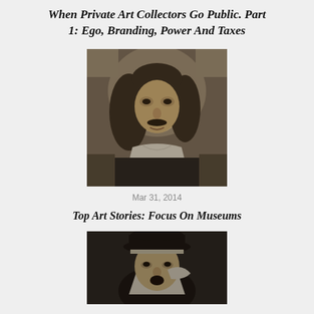When Private Art Collectors Go Public. Part 1: Ego, Branding, Power And Taxes
[Figure (photo): Black and white portrait painting of a man with long curly hair and a mustache, wearing a white collar, classical style painting]
Mar 31, 2014
Top Art Stories: Focus On Museums
[Figure (photo): Black and white portrait or painting of a figure wearing a wide-brimmed hat and white collar, partially visible at bottom of page]